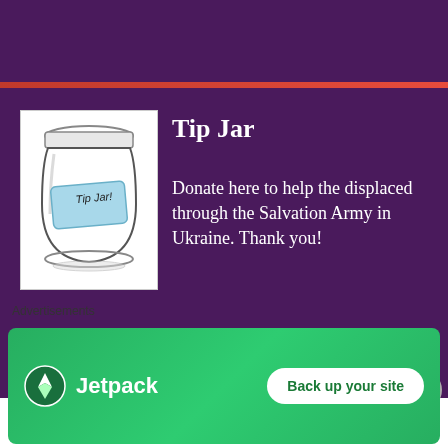[Figure (other): Dark purple top banner area]
[Figure (illustration): Tip Jar illustration: a glass mason jar with a handwritten label reading 'Tip Jar!']
Tip Jar
Donate here to help the displaced through the Salvation Army in Ukraine.  Thank you!
$1.00
Advertisements
[Figure (infographic): Jetpack advertisement banner with green background showing Jetpack logo and 'Back up your site' button]